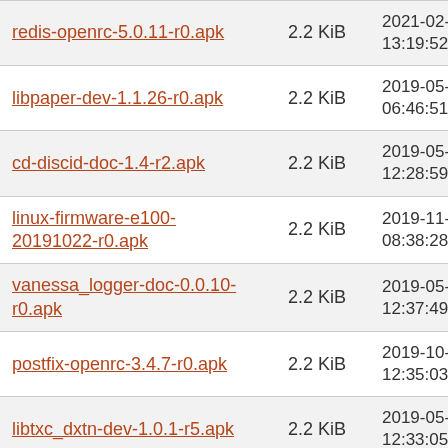| Name | Size | Date |
| --- | --- | --- |
| redis-openrc-5.0.11-r0.apk | 2.2 KiB | 2021-02-23 13:19:52 |
| libpaper-dev-1.1.26-r0.apk | 2.2 KiB | 2019-05-31 06:46:51 |
| cd-discid-doc-1.4-r2.apk | 2.2 KiB | 2019-05-08 12:28:59 |
| linux-firmware-e100-20191022-r0.apk | 2.2 KiB | 2019-11-13 08:38:28 |
| vanessa_logger-doc-0.0.10-r0.apk | 2.2 KiB | 2019-05-08 12:37:49 |
| postfix-openrc-3.4.7-r0.apk | 2.2 KiB | 2019-10-01 12:35:03 |
| libtxc_dxtn-dev-1.0.1-r5.apk | 2.2 KiB | 2019-05-08 12:33:05 |
| galculator-doc-2.1.4-r0.apk | 2.2 KiB | 2019-05-08 12:01:51 |